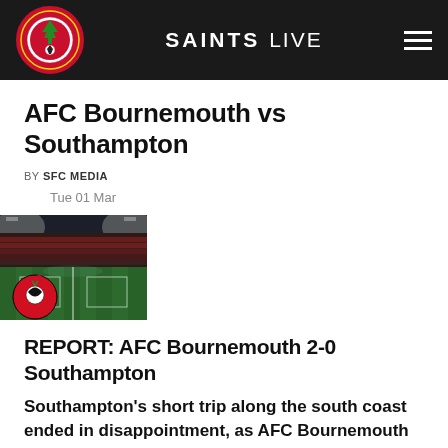SAINTS LIVE
AFC Bournemouth vs Southampton
BY SFC MEDIA
Tue 01 Mar
[Figure (photo): Football stadium pitch at night with AFC Bournemouth crest logo visible in foreground, floodlights illuminating the green grass]
REPORT: AFC Bournemouth 2-0 Southampton
Southampton's short trip along the south coast ended in disappointment, as AFC Bournemouth ran out 2-0 winners at Vitality Stadium.